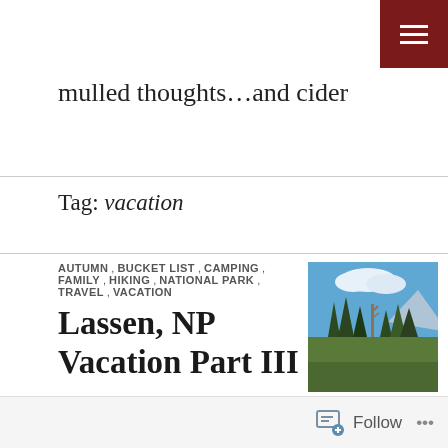mulled thoughts...and cider
Tag: vacation
AUTUMN, BUCKET LIST, CAMPING, FAMILY, HIKING, NATIONAL PARK, TRAVEL, VACATION
[Figure (photo): A scenic nature photo showing trees and sky, likely from Lassen National Park with blue sky, clouds, and conifer trees.]
Lassen, NP Vacation Part III
September brought new experiences of camping in Lassen, NP during early autumn and fulfilling a lifelong dream. Continue reading
Follow ...